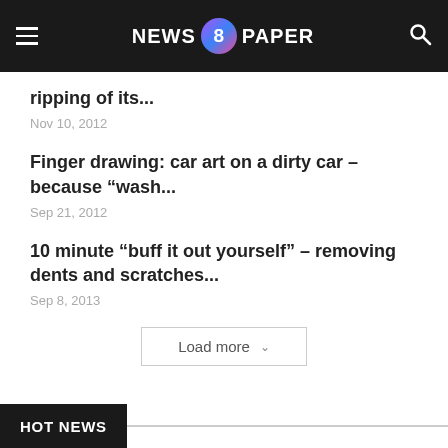NEWS 8 PAPER
ripping of its...
Nov 10, 2012
Finger drawing: car art on a dirty car – because “wash...
Sep 21, 2012
10 minute “buff it out yourself” – removing dents and scratches...
Sep 8, 2013
HOT NEWS